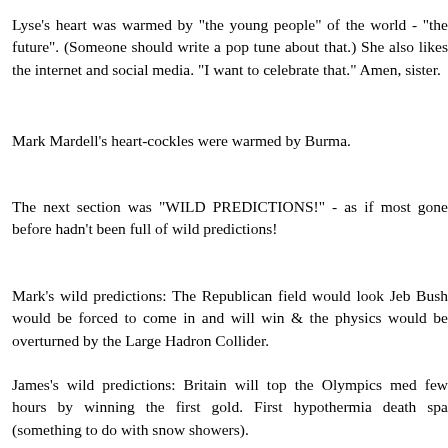Lyse's heart was warmed by "the young people" of the world - "the future". (Someone should write a pop tune about that.) She also likes the internet and social media. "I want to celebrate that." Amen, sister.
Mark Mardell's heart-cockles were warmed by Burma.
The next section was "WILD PREDICTIONS!" - as if most of what had gone before hadn't been full of wild predictions!
Mark's wild predictions: The Republican field would look very odd; Jeb Bush would be forced to come in and will win & the standard model of physics would be overturned by the Large Hadron Collider.
James's wild predictions: Britain will top the Olympics medal table for a few hours by winning the first gold. First hypothermia death at a Finnish spa (something to do with snow showers).
Paul's wild prediction: "Prime minister Berlusconi" makes a comeback. The technocrats fall. (I don't think he was being seriou